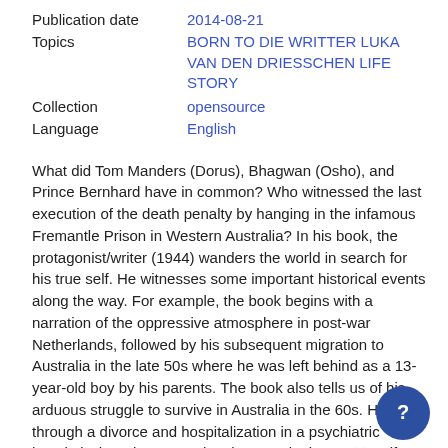Publication date   2014-08-21
Topics   BORN TO DIE WRITTER LUKA VAN DEN DRIESSCHEN LIFE STORY
Collection   opensource
Language   English
What did Tom Manders (Dorus), Bhagwan (Osho), and Prince Bernhard have in common? Who witnessed the last execution of the death penalty by hanging in the infamous Fremantle Prison in Western Australia? In his book, the protagonist/writer (1944) wanders the world in search for his true self. He witnesses some important historical events along the way. For example, the book begins with a narration of the oppressive atmosphere in post-war Netherlands, followed by his subsequent migration to Australia in the late 50s where he was left behind as a 13-year-old boy by his parents. The book also tells us of his arduous struggle to survive in Australia in the 60s. He goes through a divorce and hospitalization in a psychiatric hospital where he meets the virtuoso pianist David Helfgott (whose life inspired the Oscar-winning film "Shine"). After that period, he returns to the Netherlands and marries...